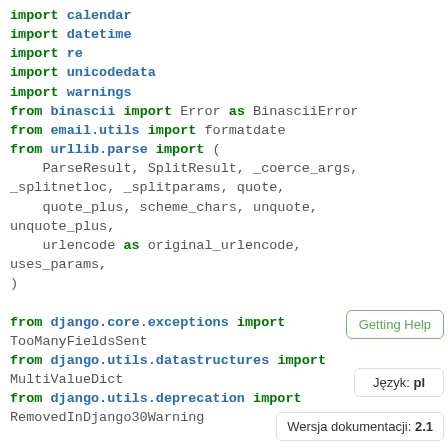[Figure (screenshot): Python source code snippet showing import statements including calendar, datetime, re, unicodedata, warnings, binascii, email.utils, urllib.parse (with multiple names), django.core.exceptions, django.utils.datastructures, and django.utils.deprecation. Sidebar shows Getting Help button, Język: pl language selector, and Wersja dokumentacji: 2.1 version badge.]